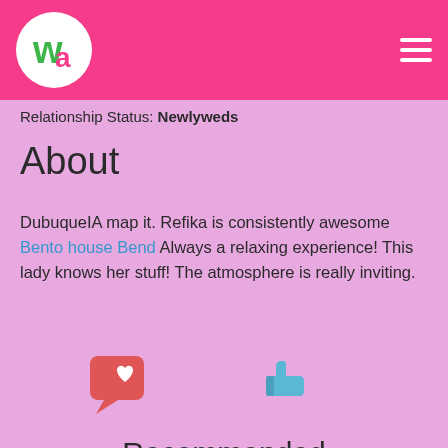[Figure (logo): Weddinganniversary 'Wa' logo circle on pink header bar with hamburger menu icon]
Relationship Status: Newlyweds
About
DubuqueIA map it. Refika is consistently awesome Bento house Bend Always a relaxing experience! This lady knows her stuff! The atmosphere is really inviting.
[Figure (illustration): Red/pink speech bubble heart icon and blue thumbs up icon]
Recommended
[Figure (illustration): Three salmon/pink recommendation card placeholders]